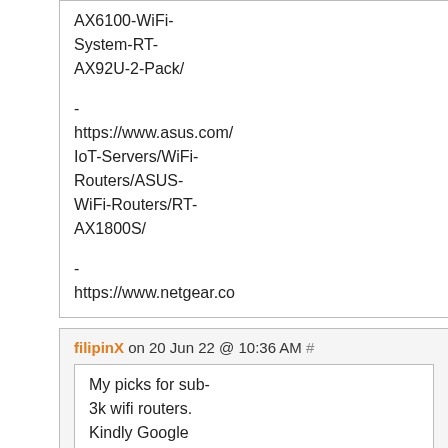AX6100-WiFi-System-RT-AX92U-2-Pack/

-
https://www.asus.com/IoT-Servers/WiFi-Routers/ASUS-WiFi-Routers/RT-AX1800S/

-
https://www.netgear.co
filipinX on 20 Jun 22 @ 10:36 AM #
My picks for sub-3k wifi routers. Kindly Google